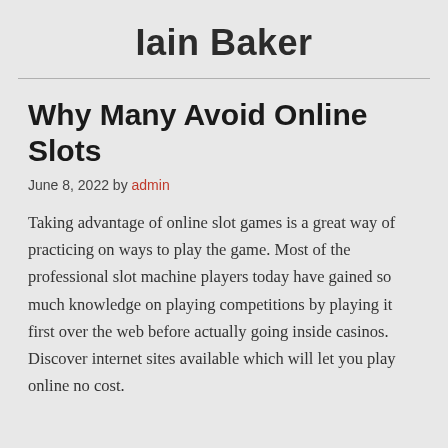Iain Baker
Why Many Avoid Online Slots
June 8, 2022 by admin
Taking advantage of online slot games is a great way of practicing on ways to play the game. Most of the professional slot machine players today have gained so much knowledge on playing competitions by playing it first over the web before actually going inside casinos. Discover internet sites available which will let you play online no cost.
...